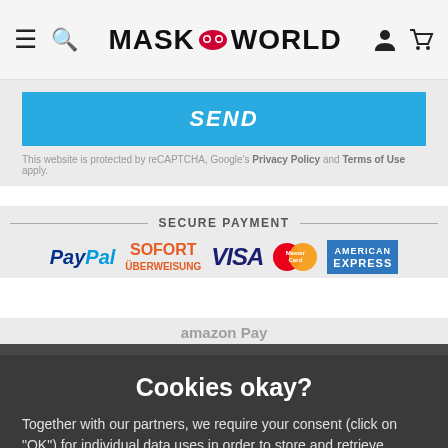MASKWORLD navigation bar with hamburger menu, search, brand logo, account and cart icons
SEND
This website is protected by reCAPTCHA, Google's Privacy Policy and Terms of Use apply.
SECURE PAYMENT
[Figure (logo): Payment logos: PayPal, SOFORT Überweisung, VISA, MasterCard, American Express, Amazon Pay]
Cookies okay?
Together with our partners, we require your consent (click on "OK") for individual data uses in order to store and retrieve information (e.g. browser information, user ID, IP address) and to process it or have it processed. The data usage is for personalised functionalities, content and ads
OK